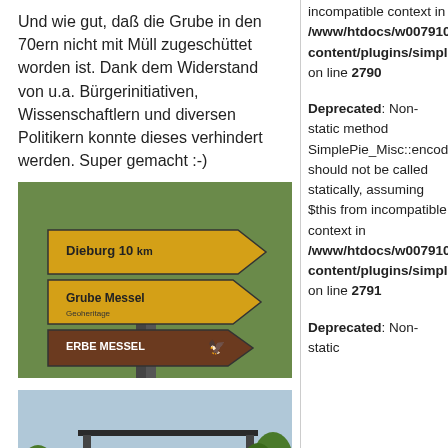Und wie gut, daß die Grube in den 70ern nicht mit Müll zugeschüttet worden ist. Dank dem Widerstand von u.a. Bürgerinitiativen, Wissenschaftlern und diversen Politikern konnte dieses verhindert werden. Super gemacht :-)
[Figure (photo): Road signs showing directions: Dieburg 10 km, Grube Messel (Geoheritage), and Erbe Messel (brown heritage sign)]
[Figure (photo): Entrance structure to Grube Messel nature reserve, with a canopy/shelter and fence in a green landscape]
[Figure (photo): Partial view of a landscape scene at Grube Messel, cropped at bottom of page]
incompatible context in /www/htdocs/w007910.../content/plugins/simple... on line 2790
Deprecated: Non-static method SimplePie_Misc::encodi should not be called statically, assuming $this from incompatible context in /www/htdocs/w007910.../content/plugins/simple... on line 2791
Deprecated: Non-static